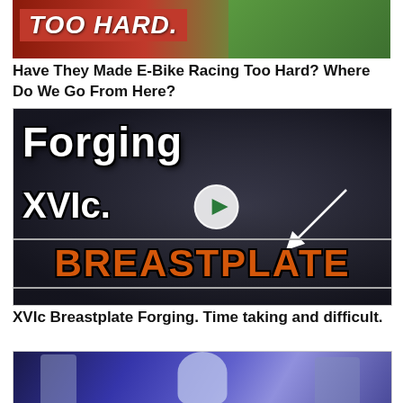[Figure (photo): Thumbnail image with bold italic text 'TOO HARD.' on red background with foliage]
Have They Made E-Bike Racing Too Hard? Where Do We Go From Here?
[Figure (photo): Video thumbnail showing a blacksmith workshop with text 'Forging XVIc. BREASTPLATE' and a play button overlay]
XVIc Breastplate Forging. Time taking and difficult.
[Figure (photo): Thumbnail showing three figures against a blue/purple background]